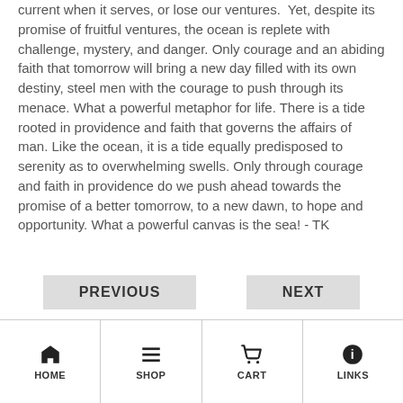current when it serves, or lose our ventures. Yet, despite its promise of fruitful ventures, the ocean is replete with challenge, mystery, and danger. Only courage and an abiding faith that tomorrow will bring a new day filled with its own destiny, steel men with the courage to push through its menace. What a powerful metaphor for life. There is a tide rooted in providence and faith that governs the affairs of man. Like the ocean, it is a tide equally predisposed to serenity as to overwhelming swells. Only through courage and faith in providence do we push ahead towards the promise of a better tomorrow, to a new dawn, to hope and opportunity. What a powerful canvas is the sea! - TK
PREVIOUS | NEXT | HOME | SHOP | CART | LINKS